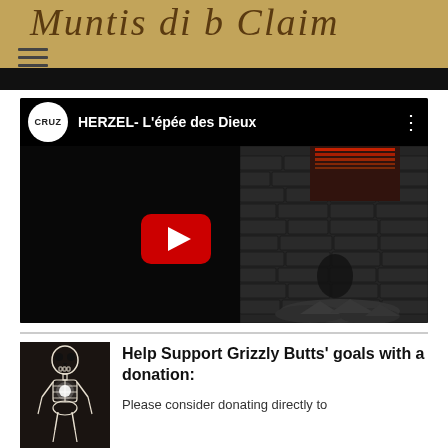Muntis di b Claim
[Figure (screenshot): YouTube video embed showing HERZEL- L'épée des Dieux with Cruz channel logo, dark dungeon scene with red light, play button overlay]
[Figure (photo): Skeleton in meditation pose with glowing light in chest, dark background]
Help Support Grizzly Butts' goals with a donation:
Please consider donating directly to